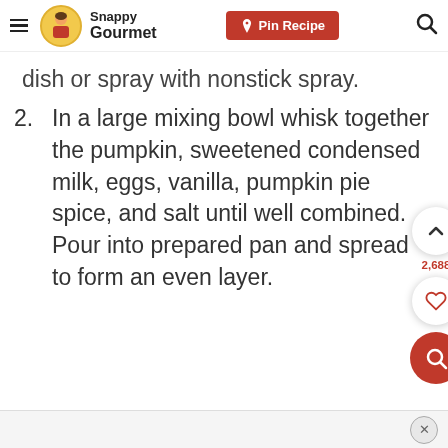Snappy Gourmet | Pin Recipe
dish or spray with nonstick spray.
2. In a large mixing bowl whisk together the pumpkin, sweetened condensed milk, eggs, vanilla, pumpkin pie spice, and salt until well combined. Pour into prepared pan and spread to form an even layer.